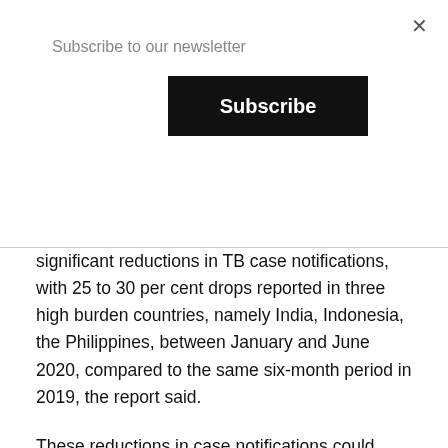Subscribe to our newsletter
Subscribe
significant reductions in TB case notifications, with 25 to 30 per cent drops reported in three high burden countries, namely India, Indonesia, the Philippines, between January and June 2020, compared to the same six-month period in 2019, the report said.
These reductions in case notifications could lead to a dramatic increase in additional TB deaths, according to WHO modelling.
According to WHO statistics, about 85 per cent of TB funding in 2020 came from domestic sources, with